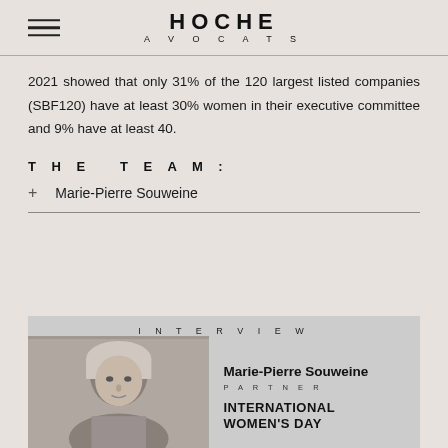HOCHE AVOCATS
2021 showed that only 31% of the 120 largest listed companies (SBF120) have at least 30% women in their executive committee and 9% have at least 40.
THE TEAM:
+ Marie-Pierre Souweine
[Figure (photo): Interview card with black-and-white photo of Marie-Pierre Souweine (Partner) and text 'INTERNATIONAL WOMEN'S DAY' on a grey background with 'INTERVIEW' header]